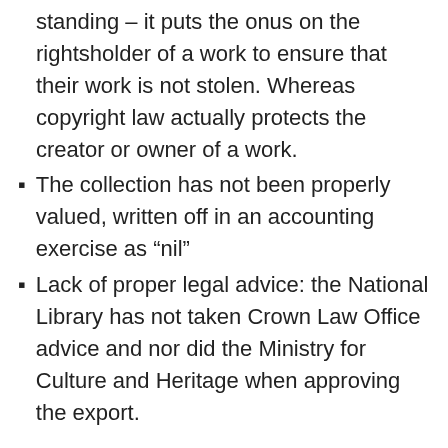standing – it puts the onus on the rightsholder of a work to ensure that their work is not stolen. Whereas copyright law actually protects the creator or owner of a work.
The collection has not been properly valued, written off in an accounting exercise as “nil”
Lack of proper legal advice: the National Library has not taken Crown Law Office advice and nor did the Ministry for Culture and Heritage when approving the export.